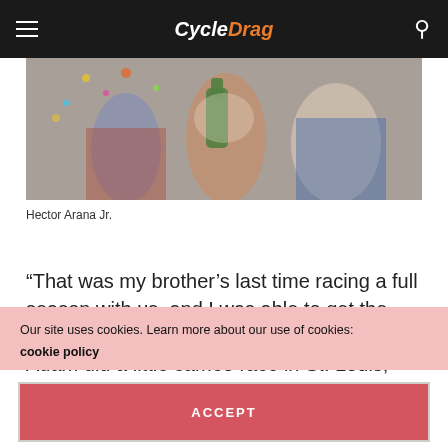CycleDrag
[Figure (photo): Celebration scene with people holding a bottle, confetti, colorful clothing]
Hector Arana Jr.
“That was my brother’s last time racing a full season with us, and I was able to get the win,” Arana said. “I don’t know how, but Adam did a little cameo race in St. Louis, and I was able to get a win there,
Our site uses cookies. Learn more about our use of cookies: cookie policy
ACCEPT